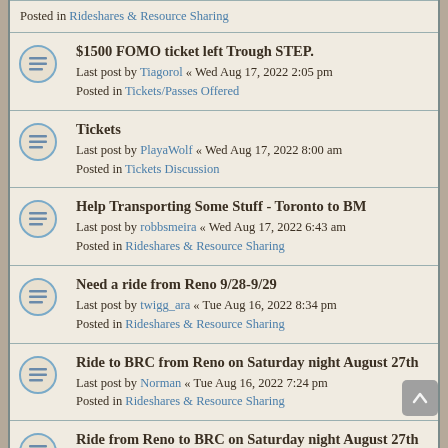Posted in Rideshares & Resource Sharing
$1500 FOMO ticket left Trough STEP. Last post by Tiagorol « Wed Aug 17, 2022 2:05 pm Posted in Tickets/Passes Offered
Tickets Last post by PlayaWolf « Wed Aug 17, 2022 8:00 am Posted in Tickets Discussion
Help Transporting Some Stuff - Toronto to BM Last post by robbsmeira « Wed Aug 17, 2022 6:43 am Posted in Rideshares & Resource Sharing
Need a ride from Reno 9/28-9/29 Last post by twigg_ara « Tue Aug 16, 2022 8:34 pm Posted in Rideshares & Resource Sharing
Ride to BRC from Reno on Saturday night August 27th Last post by Norman « Tue Aug 16, 2022 7:24 pm Posted in Rideshares & Resource Sharing
Ride from Reno to BRC on Saturday night August 27th